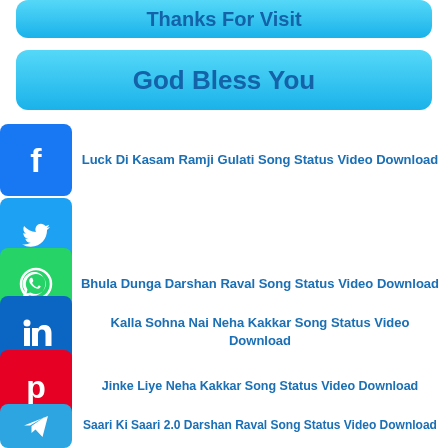Thanks For Visit
God Bless You
Luck Di Kasam Ramji Gulati Song Status Video Download
Bhula Dunga Darshan Raval Song Status Video Download
Kalla Sohna Nai Neha Kakkar Song Status Video Download
Jinke Liye Neha Kakkar Song Status Video Download
Saari Ki Saari 2.0 Darshan Raval Song Status Video Download
New Love Status Video Download | Whatsapp Romantic